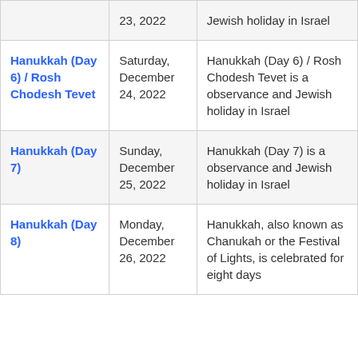| Holiday | Date | Description |
| --- | --- | --- |
|  | 23, 2022 | Jewish holiday in Israel |
| Hanukkah (Day 6) / Rosh Chodesh Tevet | Saturday, December 24, 2022 | Hanukkah (Day 6) / Rosh Chodesh Tevet is a observance and Jewish holiday in Israel |
| Hanukkah (Day 7) | Sunday, December 25, 2022 | Hanukkah (Day 7) is a observance and Jewish holiday in Israel |
| Hanukkah (Day 8) | Monday, December 26, 2022 | Hanukkah, also known as Chanukah or the Festival of Lights, is celebrated for eight days |